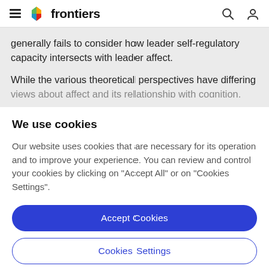frontiers
generally fails to consider how leader self-regulatory capacity intersects with leader affect.
While the various theoretical perspectives have differing views about affect and its relationship with cognition, this
We use cookies
Our website uses cookies that are necessary for its operation and to improve your experience. You can review and control your cookies by clicking on "Accept All" or on "Cookies Settings".
Accept Cookies
Cookies Settings